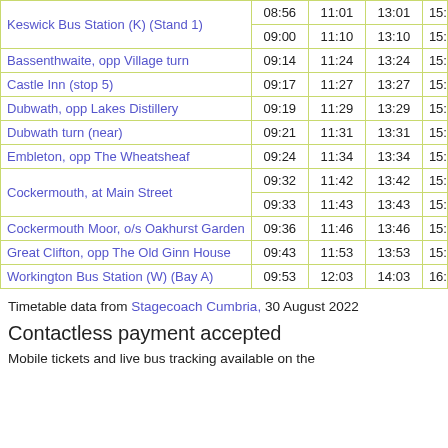| Stop | Time 1 | Time 2 | Time 3 | Time 4+ |
| --- | --- | --- | --- | --- |
| Keswick Bus Station (K) (Stand 1) | 08:56 | 11:01 | 13:01 | 15:… |
| Keswick Bus Station (K) (Stand 1) | 09:00 | 11:10 | 13:10 | 15:… |
| Bassenthwaite, opp Village turn | 09:14 | 11:24 | 13:24 | 15:… |
| Castle Inn (stop 5) | 09:17 | 11:27 | 13:27 | 15:… |
| Dubwath, opp Lakes Distillery | 09:19 | 11:29 | 13:29 | 15:… |
| Dubwath turn (near) | 09:21 | 11:31 | 13:31 | 15:… |
| Embleton, opp The Wheatsheaf | 09:24 | 11:34 | 13:34 | 15:… |
| Cockermouth, at Main Street | 09:32 | 11:42 | 13:42 | 15:… |
| Cockermouth, at Main Street | 09:33 | 11:43 | 13:43 | 15:… |
| Cockermouth Moor, o/s Oakhurst Garden | 09:36 | 11:46 | 13:46 | 15:… |
| Great Clifton, opp The Old Ginn House | 09:43 | 11:53 | 13:53 | 15:… |
| Workington Bus Station (W) (Bay A) | 09:53 | 12:03 | 14:03 | 16:… |
Timetable data from Stagecoach Cumbria, 30 August 2022
Contactless payment accepted
Mobile tickets and live bus tracking available on the